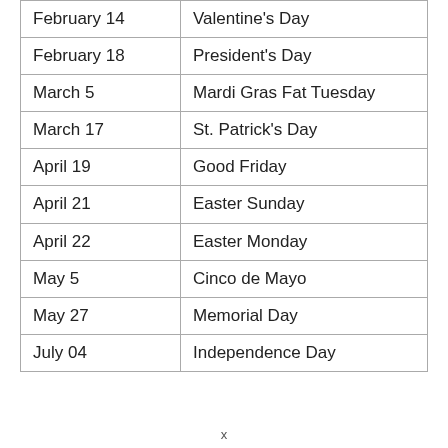| Date | Holiday |
| --- | --- |
| February 14 | Valentine's Day |
| February 18 | President's Day |
| March 5 | Mardi Gras Fat Tuesday |
| March 17 | St. Patrick's Day |
| April 19 | Good Friday |
| April 21 | Easter Sunday |
| April 22 | Easter Monday |
| May 5 | Cinco de Mayo |
| May 27 | Memorial Day |
| July 04 | Independence Day |
x